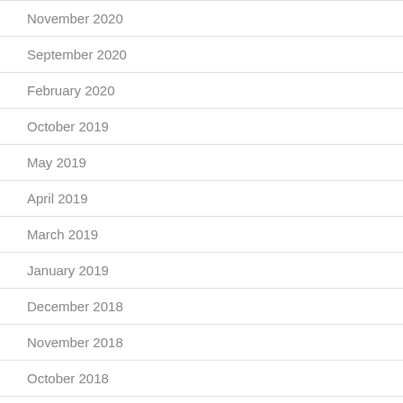November 2020
September 2020
February 2020
October 2019
May 2019
April 2019
March 2019
January 2019
December 2018
November 2018
October 2018
September 2018